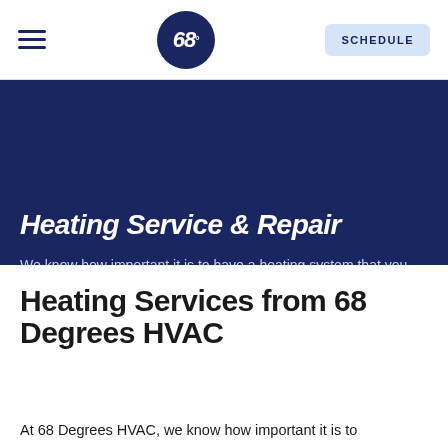[Figure (logo): Navigation bar with hamburger menu icon on left, circular '68°' logo in center on dark navy background, and 'SCHEDULE' button on right]
Heating Service & Repair
We know how important it is to have a heating system that you can rely on.
Heating Services from 68 Degrees HVAC
At 68 Degrees HVAC, we know how important it is to